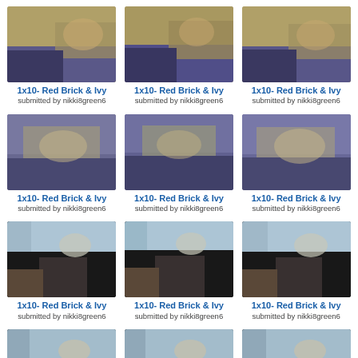[Figure (screenshot): Grid of TV show screenshots labeled 1x10- Red Brick & Ivy, submitted by nikki8green6. 3 columns, 5 rows (partial last row). All thumbnails show indoor meeting/office scenes.]
1x10- Red Brick & Ivy
submitted by nikki8green6
1x10- Red Brick & Ivy
submitted by nikki8green6
1x10- Red Brick & Ivy
submitted by nikki8green6
1x10- Red Brick & Ivy
submitted by nikki8green6
1x10- Red Brick & Ivy
submitted by nikki8green6
1x10- Red Brick & Ivy
submitted by nikki8green6
1x10- Red Brick & Ivy
submitted by nikki8green6
1x10- Red Brick & Ivy
submitted by nikki8green6
1x10- Red Brick & Ivy
submitted by nikki8green6
1x10- Red Brick & Ivy
submitted by nikki8green6
1x10- Red Brick & Ivy
submitted by nikki8green6
1x10- Red Brick & Ivy
submitted by nikki8green6